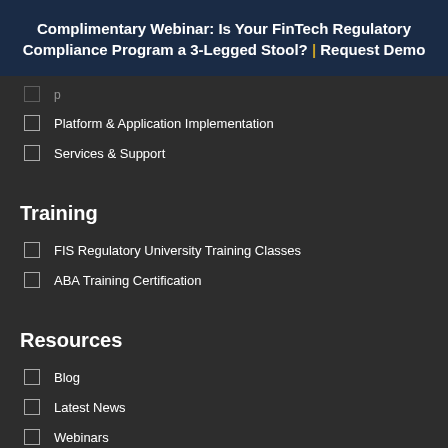Complimentary Webinar: Is Your FinTech Regulatory Compliance Program a 3-Legged Stool? | Request Demo
Platform & Application Implementation
Services & Support
Training
FIS Regulatory University Training Classes
ABA Training Certification
Resources
Blog
Latest News
Webinars
Events